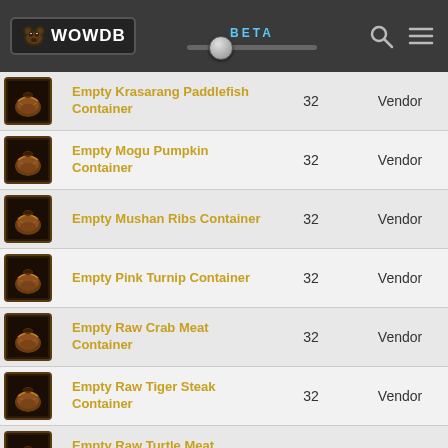WOWDB BETA
|  | Name | Level | Source | Type |
| --- | --- | --- | --- | --- |
| [icon] | Empty Krasarang Paddlefish Container | 32 | Vendor | Other |
| [icon] | Empty Mogu Pumpkin Container | 32 | Vendor | Other |
| [icon] | Empty Mushan Ribs Container | 32 | Vendor | Other |
| [icon] | Empty Pink Turnip Container | 32 | Vendor | Other |
| [icon] | Empty Raw Crab Meat Container | 32 | Vendor | Other |
| [icon] | Empty Raw Tiger Steak Container | 32 | Vendor | Other |
| [icon] | Empty Raw Turtle Meat Container | 32 | Vendor | Other |
| [icon] | Empty Red |  |  |  |